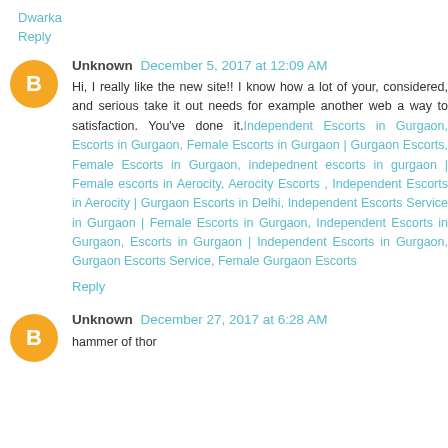Dwarka
Reply
Unknown December 5, 2017 at 12:09 AM
Hi, I really like the new site!! I know how a lot of your, considered, and serious take it out needs for example another web a way to satisfaction. You've done it.Independent Escorts in Gurgaon, Escorts in Gurgaon, Female Escorts in Gurgaon | Gurgaon Escorts, Female Escorts in Gurgaon, indepednent escorts in gurgaon | Female escorts in Aerocity, Aerocity Escorts , Independent Escorts in Aerocity | Gurgaon Escorts in Delhi, Independent Escorts Service in Gurgaon | Female Escorts in Gurgaon, Independent Escorts in Gurgaon, Escorts in Gurgaon | Independent Escorts in Gurgaon, Gurgaon Escorts Service, Female Gurgaon Escorts
Reply
Unknown December 27, 2017 at 6:28 AM
hammer of thor